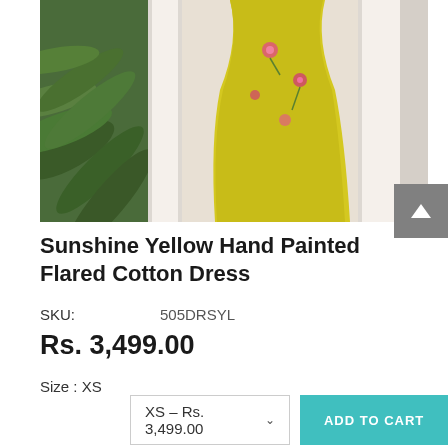[Figure (photo): A sunshine yellow hand painted flared cotton dress hanging near white pillars with green tropical plants in the background]
Sunshine Yellow Hand Painted Flared Cotton Dress
SKU:  505DRSYL
Rs. 3,499.00
Size : XS
XS – Rs. 3,499.00  ADD TO CART